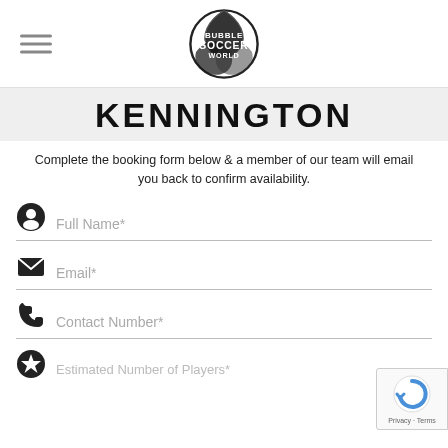Bubble Soccer World logo and hamburger menu
KENNINGTON
Complete the booking form below & a member of our team will email you back to confirm availability.
Full Name*
Email*
Contact Number*
Estimated Number of Players*